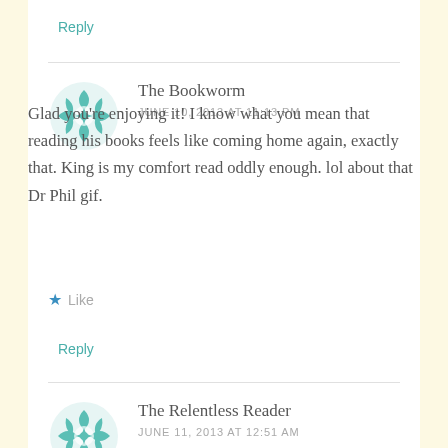Reply
[Figure (illustration): Teal geometric floral avatar icon for The Bookworm]
The Bookworm
JUNE 10, 2013 AT 11:13 PM
Glad you're enjoying it! I know what you mean that reading his books feels like coming home again, exactly that. King is my comfort read oddly enough. lol about that Dr Phil gif.
Like
Reply
[Figure (illustration): Teal geometric floral avatar icon for The Relentless Reader]
The Relentless Reader
JUNE 11, 2013 AT 12:51 AM